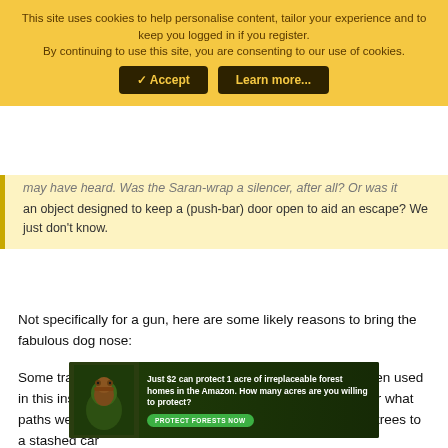This site uses cookies to help personalise content, tailor your experience and to keep you logged in if you register. By continuing to use this site, you are consenting to our use of cookies.
✓ Accept | Learn more...
...may have heard. Was the Saran-wrap a silencer, after all? Or was it an object designed to keep a (push-bar) door open to aid an escape? We just don't know.
Not specifically for a gun, here are some likely reasons to bring the fabulous dog nose:
Some track human scents, missing persons - could have been used in this instance to learn if the killer was still on the grounds or what paths were taken. Did they have a car or did they run to the trees to a stashed car
[Figure (infographic): Advertisement banner: forest conservation ad. Text reads 'Just $2 can protect 1 acre of irreplaceable forest homes in the Amazon. How many acres are you willing to protect?' with a green 'PROTECT FORESTS NOW' button and a photo of an animal in jungle.]